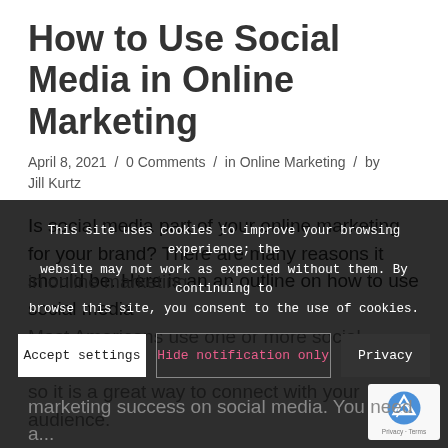How to Use Social Media in Online Marketing
April 8, 2021 / 0 Comments / in Online Marketing / by Jill Kurtz
Is social media part of your online marketing for your brand? There are many reasons it should be. Here is an an outline on how to use social media in online marketing.
Most Americans use one or more social channels, so it is a great way to connect with your audience.
This site uses cookies to improve your browsing experience; the website may not work as expected without them. By continuing to browse this site, you consent to the use of cookies.
marketing success on social media. You need a...